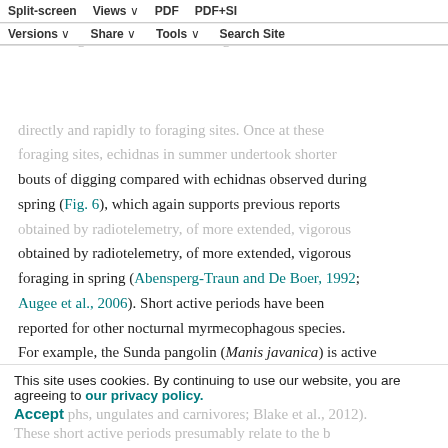Split-screen Views PDF PDF+SI Versions Share Tools Search Site
fast running speeds indicates that echidnas emerge from their retreats, e.g., burrows or hollow logs, above ground directly and rapidly to foraging sites. Once at these foraging sites, echidnas in summer undertook shorter bouts of digging compared with echidnas observed during spring (Fig. 6), which again supports previous reports obtained by radiotelemetry, of more extended, vigorous foraging in spring (Abensperg-Traun and De Boer, 1992; Augee et al., 2006). Short active periods have been reported for other nocturnal myrmecophagous species. For example, the Sunda pangolin (Manis javanica) is active for only 127±13 min day⁻¹ (Lim and Ng, 2008). Camera trap data suggest that the giant anteater (Myrmecophaga tridactyla) is active during only 7 h of the day, less than for other mammals from similar locations (rodents, large ungulates and carnivores; Blake et al., 2012). These short active periods presumably relate to the b
This site uses cookies. By continuing to use our website, you are agreeing to our privacy policy. Accept